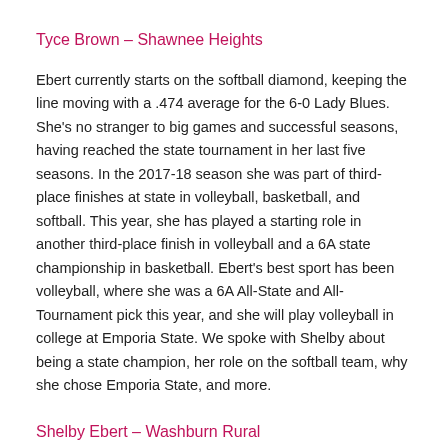Tyce Brown – Shawnee Heights
Ebert currently starts on the softball diamond, keeping the line moving with a .474 average for the 6-0 Lady Blues. She's no stranger to big games and successful seasons, having reached the state tournament in her last five seasons. In the 2017-18 season she was part of third-place finishes at state in volleyball, basketball, and softball. This year, she has played a starting role in another third-place finish in volleyball and a 6A state championship in basketball. Ebert's best sport has been volleyball, where she was a 6A All-State and All-Tournament pick this year, and she will play volleyball in college at Emporia State. We spoke with Shelby about being a state champion, her role on the softball team, why she chose Emporia State, and more.
Shelby Ebert – Washburn Rural